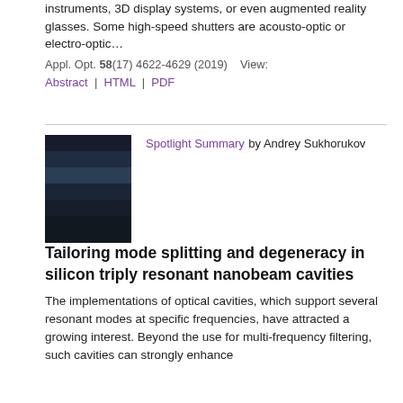instruments, 3D display systems, or even augmented reality glasses. Some high-speed shutters are acousto-optic or electro-optic…
Appl. Opt. 58(17) 4622-4629 (2019)    View: Abstract | HTML | PDF
[Figure (photo): Scanning electron microscope image of a silicon nanobeam cavity device showing layered photonic crystal structure]
Spotlight Summary by Andrey Sukhorukov
Tailoring mode splitting and degeneracy in silicon triply resonant nanobeam cavities
The implementations of optical cavities, which support several resonant modes at specific frequencies, have attracted a growing interest. Beyond the use for multi-frequency filtering, such cavities can strongly enhance